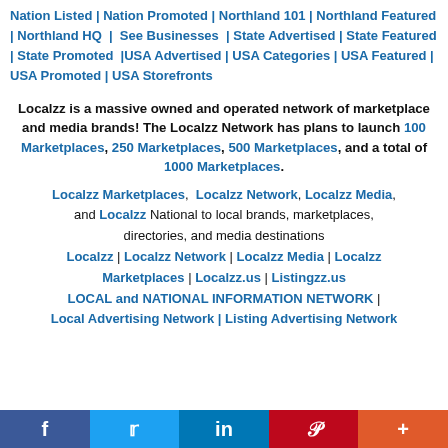Nation Listed | Nation Promoted | Northland 101 | Northland Featured | Northland HQ | See Businesses | State Advertised | State Featured | State Promoted | USA Advertised | USA Categories | USA Featured | USA Promoted | USA Storefronts
Localzz is a massive owned and operated network of marketplace and media brands! The Localzz Network has plans to launch 100 Marketplaces, 250 Marketplaces, 500 Marketplaces, and a total of 1000 Marketplaces.
Localzz Marketplaces, Localzz Network, Localzz Media, and Localzz National to local brands, marketplaces, directories, and media destinations Localzz | Localzz Network | Localzz Media | Localzz Marketplaces | Localzz.us | Listingzz.us LOCAL and NATIONAL INFORMATION NETWORK | Local Advertising Network | Listing Advertising Network
f | Twitter | in | Pinterest | +